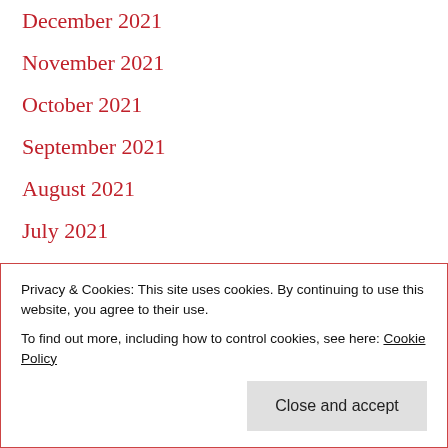December 2021
November 2021
October 2021
September 2021
August 2021
July 2021
June 2021
May 2021
April 2021
March 2021
February 2021
January 2021
August 2020
Privacy & Cookies: This site uses cookies. By continuing to use this website, you agree to their use. To find out more, including how to control cookies, see here: Cookie Policy
Close and accept